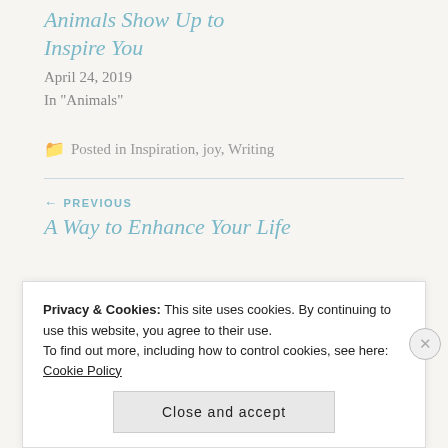Animals Show Up to Inspire You
April 24, 2019
In "Animals"
Posted in Inspiration, joy, Writing
← PREVIOUS
A Way to Enhance Your Life
Privacy & Cookies: This site uses cookies. By continuing to use this website, you agree to their use.
To find out more, including how to control cookies, see here: Cookie Policy
Close and accept